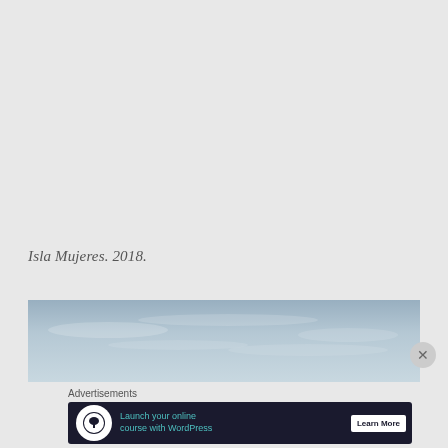Isla Mujeres. 2018.
[Figure (photo): Horizontal strip photo showing a pale blue-grey sky with light clouds, likely a seascape or coastal scene near Isla Mujeres, 2018.]
Advertisements
[Figure (infographic): Advertisement banner with dark navy background. White circle icon with a tree/person icon. Teal text: 'Launch your online course with WordPress'. White button: 'Learn More'.]